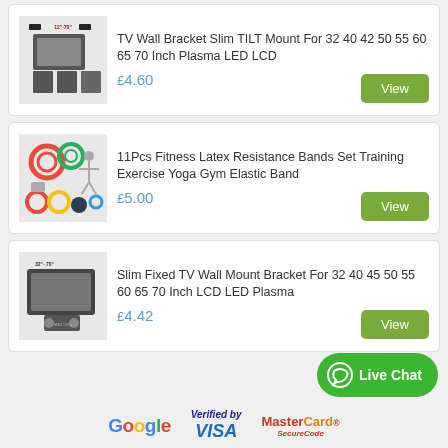[Figure (photo): TV Wall Bracket Slim TILT Mount product image]
TV Wall Bracket Slim TILT Mount For 32 40 42 50 55 60 65 70 Inch Plasma LED LCD
£4.60
[Figure (photo): 11Pcs Fitness Latex Resistance Bands Set product image]
11Pcs Fitness Latex Resistance Bands Set Training Exercise Yoga Gym Elastic Band
£5.00
[Figure (photo): Slim Fixed TV Wall Mount Bracket product image]
Slim Fixed TV Wall Mount Bracket For 32 40 45 50 55 60 65 70 Inch LCD LED Plasma
£4.42
[Figure (logo): Google logo]
[Figure (logo): Verified by VISA logo]
[Figure (logo): MasterCard SecureCode logo]